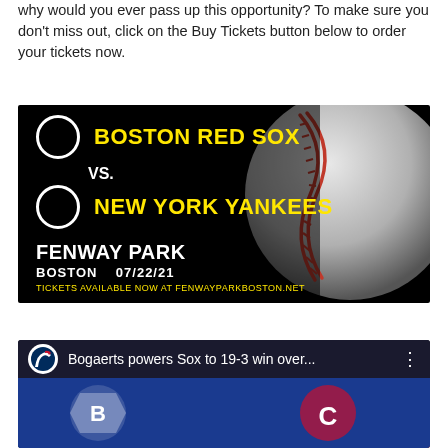why would you ever pass up this opportunity? To make sure you don't miss out, click on the Buy Tickets button below to order your tickets now.
[Figure (infographic): Black background ticket advertisement: Boston Red Sox vs. New York Yankees at Fenway Park, Boston, 07/22/21. Yellow bold team names, white circles as team logos placeholders, baseball image on right, small text: TICKETS AVAILABLE NOW AT FENWAYPARKBOSTON.NET]
[Figure (screenshot): Video card with MLB logo, title: Bogaerts powers Sox to 19-3 win over... with three-dot menu. Below is a video thumbnail showing baseball team logos on blue/red background.]